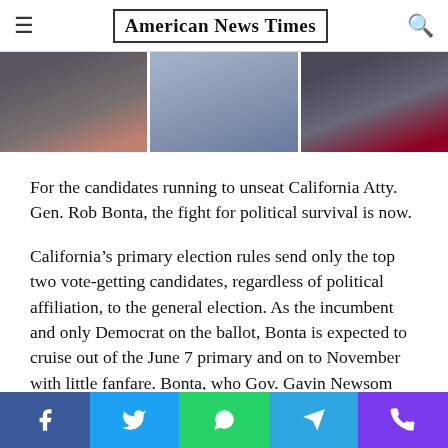American News Times
[Figure (photo): Three-panel photo strip showing politicians or officials in suits, partially cropped at torso level. Left panel shows dark suit with colorful tie, center panel shows light blue shirt, right panel shows dark suit with red tie holding a device.]
For the candidates running to unseat California Atty. Gen. Rob Bonta, the fight for political survival is now.
California’s primary election rules send only the top two vote-getting candidates, regardless of political affiliation, to the general election. As the incumbent and only Democrat on the ballot, Bonta is expected to cruise out of the June 7 primary and on to November with little fanfare. Bonta, who Gov. Gavin Newsom appointed to the job last year, was endorsed by the California Democratic Party and has raised more than $5 million for his campaign.